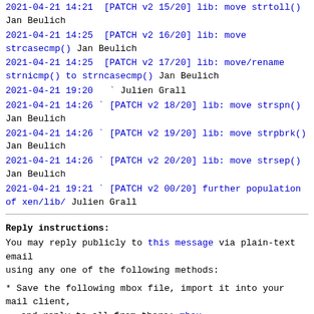2021-04-21 14:21  [PATCH v2 15/20] lib: move strtoll() Jan Beulich
2021-04-21 14:25  [PATCH v2 16/20] lib: move strcasecmp() Jan Beulich
2021-04-21 14:25  [PATCH v2 17/20] lib: move/rename strnicmp() to strncasecmp() Jan Beulich
2021-04-21 19:20   Julien Grall
2021-04-21 14:26  [PATCH v2 18/20] lib: move strspn() Jan Beulich
2021-04-21 14:26  [PATCH v2 19/20] lib: move strpbrk() Jan Beulich
2021-04-21 14:26  [PATCH v2 20/20] lib: move strsep() Jan Beulich
2021-04-21 19:21  [PATCH v2 00/20] further population of xen/lib/ Julien Grall
Reply instructions:
You may reply publicly to this message via plain-text email
using any one of the following methods:
* Save the following mbox file, import it into your mail client,
   and reply-to-all from there: mbox
Avoid top-posting and favor interleaved quoting:
https://en.wikipedia.org/wiki/Posting_style#Interleaved_s